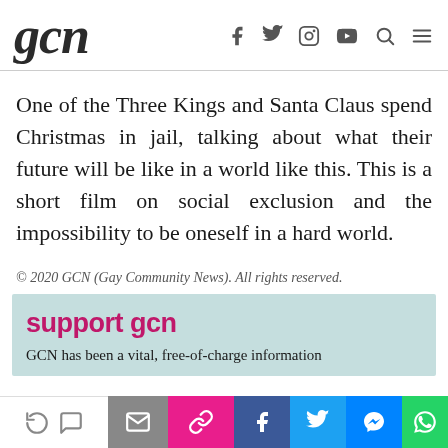gcn
One of the Three Kings and Santa Claus spend Christmas in jail, talking about what their future will be like in a world like this. This is a short film on social exclusion and the impossibility to be oneself in a hard world.
© 2020 GCN (Gay Community News). All rights reserved.
support gcn
GCN has been a vital, free-of-charge information